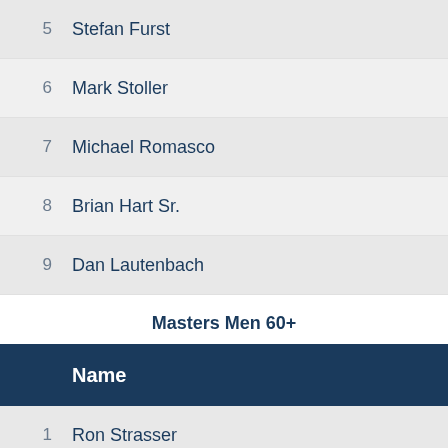|  | Name |
| --- | --- |
| 5 | Stefan Furst |
| 6 | Mark Stoller |
| 7 | Michael Romasco |
| 8 | Brian Hart Sr. |
| 9 | Dan Lautenbach |
Masters Men 60+
|  | Name |
| --- | --- |
| 1 | Ron Strasser |
| 2 | Ken Rodgers |
| 3 | Robert Fox |
| 4 | Philip Litchfield |